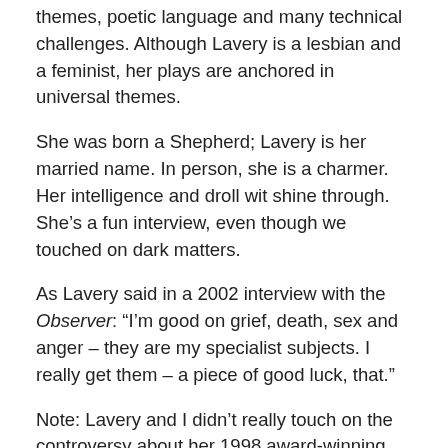themes, poetic language and many technical challenges. Although Lavery is a lesbian and a feminist, her plays are anchored in universal themes.
She was born a Shepherd; Lavery is her married name. In person, she is a charmer. Her intelligence and droll wit shine through. She’s a fun interview, even though we touched on dark matters.
As Lavery said in a 2002 interview with the Observer: “I’m good on grief, death, sex and anger – they are my specialist subjects. I really get them – a piece of good luck, that.”
Note: Lavery and I didn’t really touch on the controversy about her 1998 award-winning play Frozen, and the accusation of plagiarism. As she said briefly: “It’s a dull story. It was an awful experience. I didn’t look after other people’s work.” (Here are two links for those interested in reading more about this literary scandal. The interview with the Guardian (http://bit.ly/JKRf15). The article from the